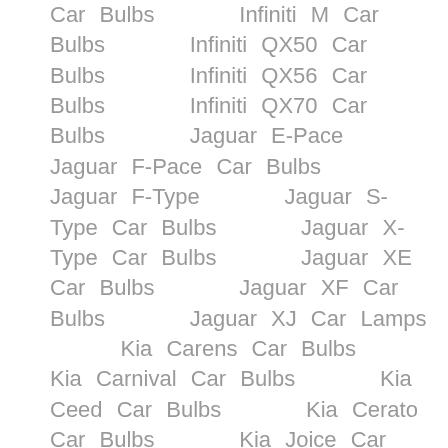Car Bulbs      Infiniti M Car Bulbs      Infiniti QX50 Car Bulbs      Infiniti QX56 Car Bulbs      Infiniti QX70 Car Bulbs      Jaguar E-Pace      Jaguar F-Pace Car Bulbs      Jaguar F-Type      Jaguar S-Type Car Bulbs      Jaguar X-Type Car Bulbs      Jaguar XE Car Bulbs      Jaguar XF Car Bulbs      Jaguar XJ Car Lamps      Kia Carens Car Bulbs      Kia Carnival Car Bulbs      Kia Ceed Car Bulbs      Kia Cerato Car Bulbs      Kia Joice Car Bulbs      Kia Magentis Car Bulbs      Kia Mohave Car Bulbs      Kia Opirus Car Bulbs      Kia Optima Car Bulbs      Kia Picanto Car Bulbs      Kia Quoris Car Bulbs      Kia Rio Car Bulbs      Kia Seltos Car Bulbs      Kia Shuma Car Bulbs      Kia Sorento Car Bulbs      Kia Soul Car Bulbs      Kia Spectra Car Bulbs      Kia Sportage Car Bulbs      Kia Stinger Car Bulbs      Kia Venga Car Bulbs      LADA (ВАЗ) Car Bulbs      Land Rover Car Bulbs      Lexus CT Car